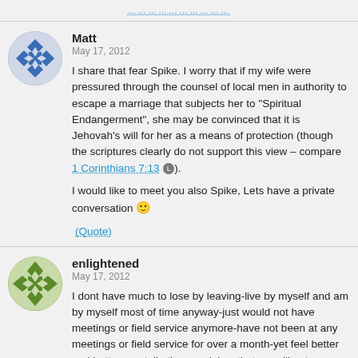Matt
May 17, 2012
I share that fear Spike. I worry that if my wife were pressured through the counsel of local men in authority to escape a marriage that subjects her to "Spiritual Endangerment", she may be convinced that it is Jehovah's will for her as a means of protection (though the scriptures clearly do not support this view – compare 1 Corinthians 7:13 L).
I would like to meet you also Spike, Lets have a private conversation 🙂
(Quote)
enlightened
May 17, 2012
I dont have much to lose by leaving-live by myself and am by myself most of time anyway-just would not have meetings or field service anymore-have not been at any meetings or field service for over a month-yet feel better and better mentally-the org claims that we will get more and more depressed from being away